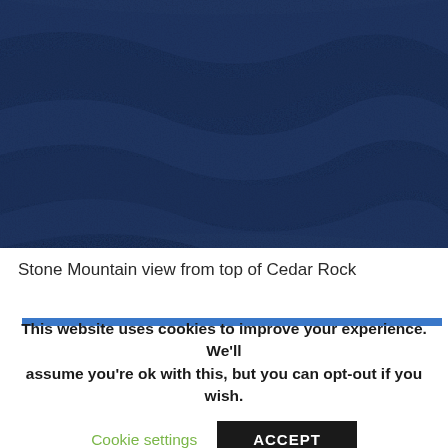[Figure (photo): Close-up photo of dark navy blue textured fabric or fleece material, shot from above, filling the top portion of the page.]
Stone Mountain view from top of Cedar Rock
This website uses cookies to improve your experience. We'll assume you're ok with this, but you can opt-out if you wish.
Cookie settings  ACCEPT